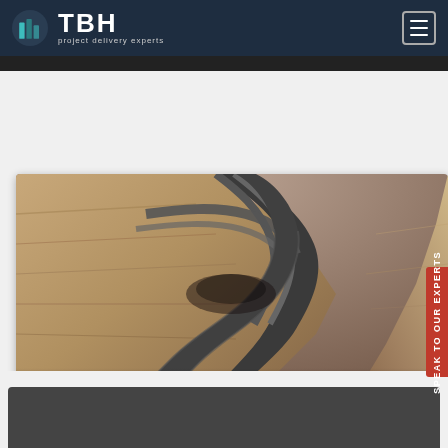TBH — project delivery experts
[Figure (photo): Aerial view of open-cut mine pit showing winding haul road with switchbacks carved into rock face, with a yellow haul truck visible at bottom right. Text overlay reads 'Prominent Hill Gold / Copper Mine' and 'Planning & Scheduling, Project Management'.]
Prominent Hill Gold / Copper Mine
Planning & Scheduling, Project Management